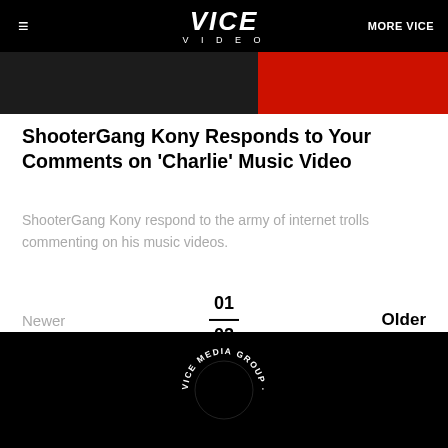VICE VIDEO | MORE VICE
[Figure (photo): Partial video thumbnail with dark left portion and red right portion]
ShooterGang Kony Responds to Your Comments on 'Charlie' Music Video
ShooterGang Kony respond to the army of internet trolls commenting on his music videos.
Newer  01 / 02  Older
[Figure (logo): VICE MEDIA GROUP circular logo in white on black background]